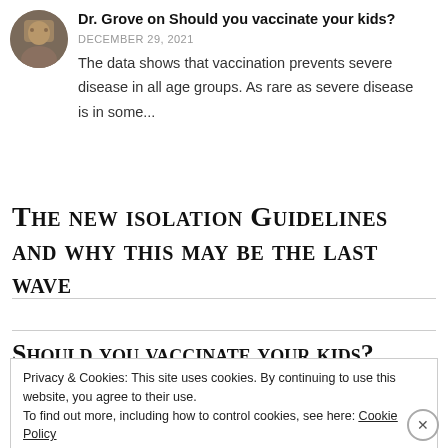[Figure (photo): Circular avatar photo of Dr. Grove, a person in casual clothing]
Dr. Grove on Should you vaccinate your kids?
DECEMBER 29, 2021
The data shows that vaccination prevents severe disease in all age groups. As rare as severe disease is in some...
The new isolation Guidelines and why this may be the last wave
Should you vaccinate your kids?
Privacy & Cookies: This site uses cookies. By continuing to use this website, you agree to their use.
To find out more, including how to control cookies, see here: Cookie Policy
Close and accept